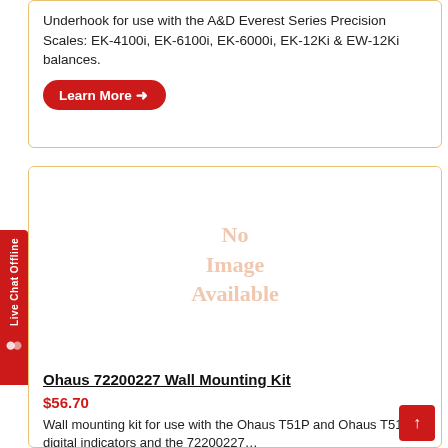Underhook for use with the A&D Everest Series Precision Scales: EK-4100i, EK-6100i, EK-6000i, EK-12Ki & EW-12Ki balances.
Learn More →
[Figure (other): No Image Available placeholder for Ohaus 72200227 Wall Mounting Kit]
Ohaus 72200227 Wall Mounting Kit
$56.70
Wall mounting kit for use with the Ohaus T51P and Ohaus T51P digital indicators and the 72200227...